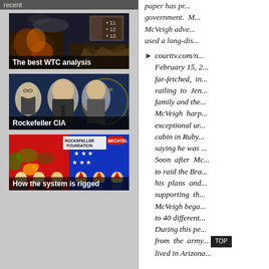recent
[Figure (screenshot): Video thumbnail showing WTC destruction with fire and debris, numbered items 11, 12, 13 in top right corner. Caption reads: The best WTC analysis]
[Figure (photo): Black and white photo of three men in suits with CIA logo visible. Caption reads: Rockefeller CIA]
[Figure (illustration): Colorful political illustration featuring Rockefeller Foundation and Bechtel logos, American flags, and cartoon figures. Caption reads: How the system is rigged]
paper has pr... government. M... McVeigh adve... used a long-dis...
courttv.com/n... February 15, 2... far-fetched, in... railing to Jen... family and the... McVeigh harp... exceptional ur... cabin in Ruby... saying he was ... Soon after Mc... to raid the Bra... his plans and... supporting th... McVeigh bega... to 40 different... During this pe... from the army... lived in Arizona...
TOP